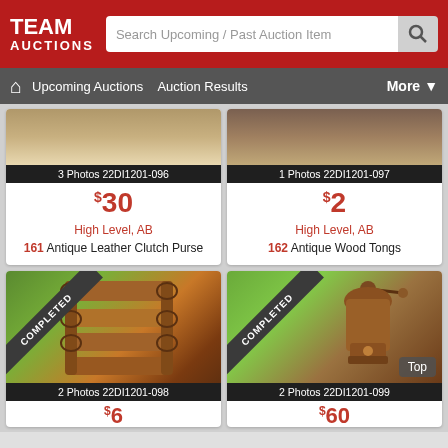TEAM AUCTIONS
Search Upcoming / Past Auction Items
Upcoming Auctions  Auction Results  More
3 Photos 22DI1201-096
$30
High Level, AB
161 Antique Leather Clutch Purse
1 Photos 22DI1201-097
$2
High Level, AB
162 Antique Wood Tongs
[Figure (photo): Antique wooden shelf or rack with puzzle-cut sides, photographed against green background. COMPLETED banner shown.]
2 Photos 22DI1201-098
$6
[Figure (photo): Antique wooden coffee grinder, photographed against green background. COMPLETED banner shown.]
2 Photos 22DI1201-099
$60